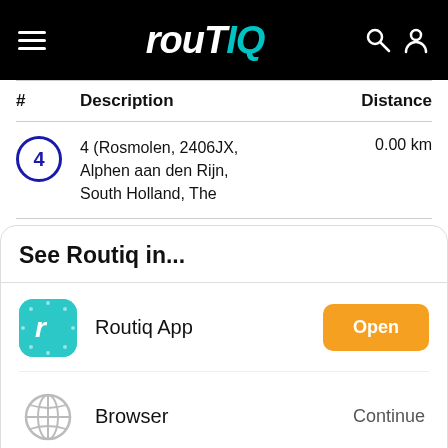routIQ
| # | Description | Distance |
| --- | --- | --- |
| 4 | 4 (Rosmolen, 2406JX, Alphen aan den Rijn, South Holland, The | 0.00 km |
See Routiq in...
Routiq App
Browser